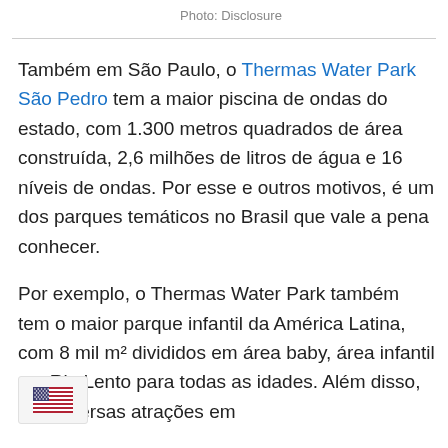Photo: Disclosure
Também em São Paulo, o Thermas Water Park São Pedro tem a maior piscina de ondas do estado, com 1.300 metros quadrados de área construída, 2,6 milhões de litros de água e 16 níveis de ondas. Por esse e outros motivos, é um dos parques temáticos no Brasil que vale a pena conhecer.
Por exemplo, o Thermas Water Park também tem o maior parque infantil da América Latina, com 8 mil m² divididos em área baby, área infantil e o Rio Lento para todas as idades. Além disso, tem diversas atrações em
[Figure (illustration): US flag icon in a small rounded box at bottom left corner]